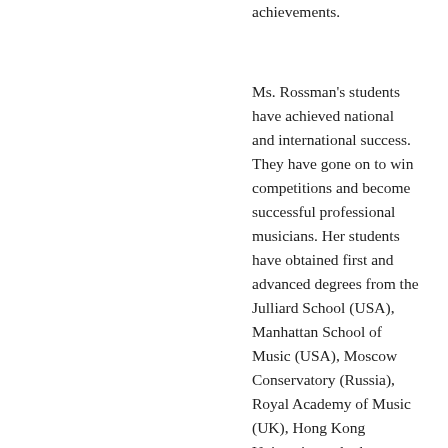achievements.
Ms. Rossman's students have achieved national and international success. They have gone on to win competitions and become successful professional musicians. Her students have obtained first and advanced degrees from the Julliard School (USA), Manhattan School of Music (USA), Moscow Conservatory (Russia), Royal Academy of Music (UK), Hong Kong University and other leading International music